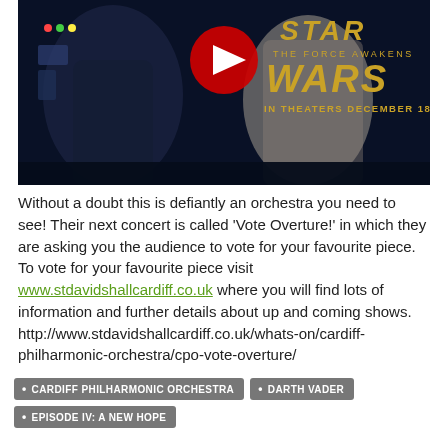[Figure (screenshot): YouTube thumbnail for Star Wars: The Force Awakens showing two characters in a spacecraft interior, with YouTube play button icon, Star Wars: The Force Awakens logo in gold, and text 'IN THEATERS DECEMBER 18' on dark background.]
Without a doubt this is defiantly an orchestra you need to see! Their next concert is called 'Vote Overture!' in which they are asking you the audience to vote for your favourite piece. To vote for your favourite piece visit www.stdavidshallcardiff.co.uk where you will find lots of information and further details about up and coming shows. http://www.stdavidshallcardiff.co.uk/whats-on/cardiff-philharmonic-orchestra/cpo-vote-overture/
CARDIFF PHILHARMONIC ORCHESTRA
DARTH VADER
EPISODE IV: A NEW HOPE